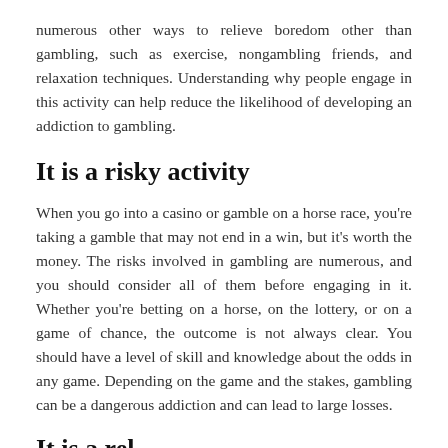numerous other ways to relieve boredom other than gambling, such as exercise, nongambling friends, and relaxation techniques. Understanding why people engage in this activity can help reduce the likelihood of developing an addiction to gambling.
It is a risky activity
When you go into a casino or gamble on a horse race, you're taking a gamble that may not end in a win, but it's worth the money. The risks involved in gambling are numerous, and you should consider all of them before engaging in it. Whether you're betting on a horse, on the lottery, or on a game of chance, the outcome is not always clear. You should have a level of skill and knowledge about the odds in any game. Depending on the game and the stakes, gambling can be a dangerous addiction and can lead to large losses.
It is a ...